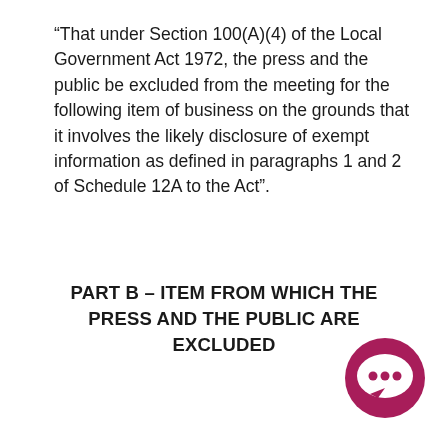“That under Section 100(A)(4) of the Local Government Act 1972, the press and the public be excluded from the meeting for the following item of business on the grounds that it involves the likely disclosure of exempt information as defined in paragraphs 1 and 2 of Schedule 12A to the Act”.
PART B – ITEM FROM WHICH THE PRESS AND THE PUBLIC ARE EXCLUDED
[Figure (illustration): Dark pink/magenta circular chat bubble icon with three ellipsis dots inside, bottom-right corner]